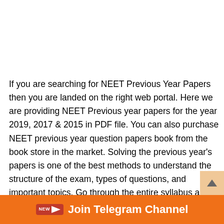If you are searching for NEET Previous Year Papers then you are landed on the right web portal. Here we are providing NEET Previous year papers for the year 2019, 2017 & 2015 in PDF file. You can also purchase NEET previous year question papers book from the book store in the market. Solving the previous year's papers is one of the best methods to understand the structure of the exam, types of questions, and important topics. Go through the entire syllabus and then practice with last year's papers to gear up your preparation. Find out the important topics with the help of NEET previous
Join Telegram Channel